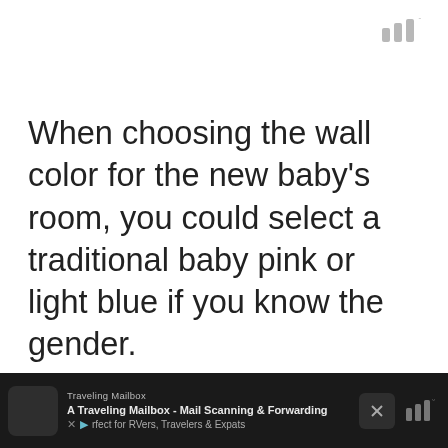[Figure (logo): Three vertical bars logo with a degree symbol, in gray]
When choosing the wall color for the new baby's room, you could select a traditional baby pink or light blue if you know the gender.
I use cookies on this site to personalize content and ads, to provide social media features and to analyze traffic. I also share information about your use of our site with our social media, advertising, and analytics partners who may combine it with other information that you've provided to them or that they've collected from your use of their services. Privacy & Cookie Policy
A Traveling Mailbox - Mail Scanning & Forwarding - Perfect for RVers, Travelers & Expats